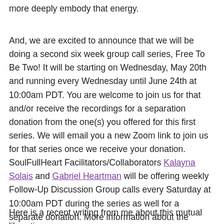more deeply embody that energy.
And, we are excited to announce that we will be doing a second six week group call series, Free To Be Two! It will be starting on Wednesday, May 20th and running every Wednesday until June 24th at 10:00am PDT. You are welcome to join us for that and/or receive the recordings for a separation donation from the one(s) you offered for this first series. We will email you a new Zoom link to join us for that series once we receive your donation. SoulFullHeart Facilitators/Collaborators Kalayna Solais and Gabriel Heartman will be offering weekly Follow-Up Discussion Group calls every Saturday at 10:00am PDT during the series as well for a separate donation. More information about the weekly topics/meditations here: soulfullheart.org/freetobe2
Here is a recent writing from me about this mutual liberation